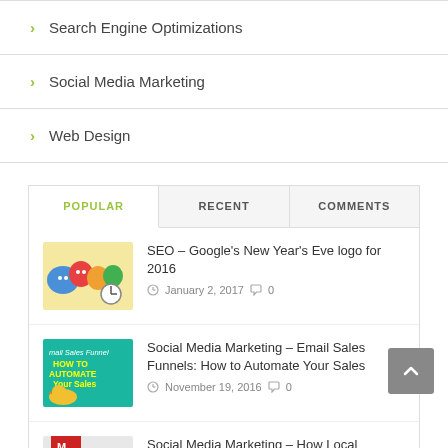Search Engine Optimizations
Social Media Marketing
Web Design
POPULAR | RECENT | COMMENTS
SEO – Google's New Year's Eve logo for 2016
January 2, 2017  0
Social Media Marketing – Email Sales Funnels: How to Automate Your Sales
November 19, 2016  0
Social Media Marketing – How Local